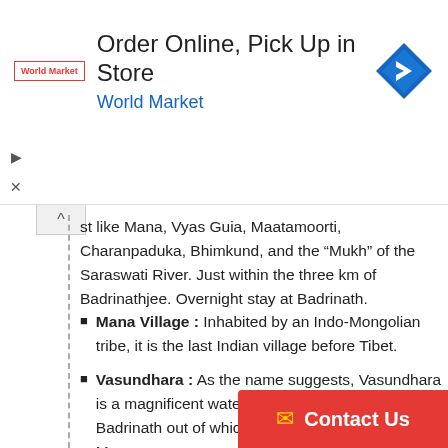[Figure (other): Advertisement banner: Order Online, Pick Up in Store - World Market]
st like Mana, Vyas Guia, Maatamoorti, Charanpaduka, Bhimkund, and the “Mukh” of the Saraswati River. Just within the three km of Badrinathjee. Overnight stay at Badrinath.
Mana Village : Inhabited by an Indo-Mongolian tribe, it is the last Indian village before Tibet.
Vasundhara : As the name suggests, Vasundhara is a magnificent waterfall. This place is 5 km. from Badrinath out of which 2 km. is motorable upto Mana.
Bhim Pul : On the other side of Mana village, a massive rock forming a natural bridge, lies over the roaring Saraswati river. It presents a spectacular view of water thundering down through the narrow passage under the rock and is believed t... there by Bhim, the second eldest among the five